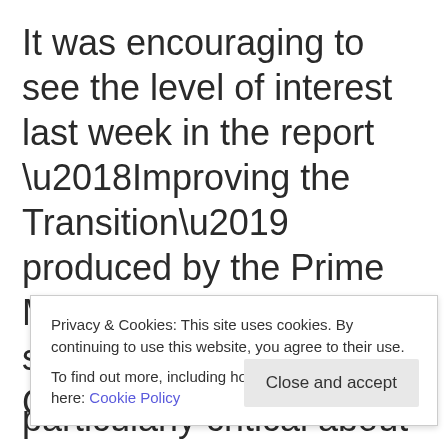It was encouraging to see the level of interest last week in the report ‘Improving the Transition’ produced by the Prime Minister’s chief science advisor Peter Gluckman last week.
The report challenged successive
Privacy & Cookies: This site uses cookies. By continuing to use this website, you agree to their use. To find out more, including how to control cookies, see here: Cookie Policy
Close and accept
particularly critical about the lack of